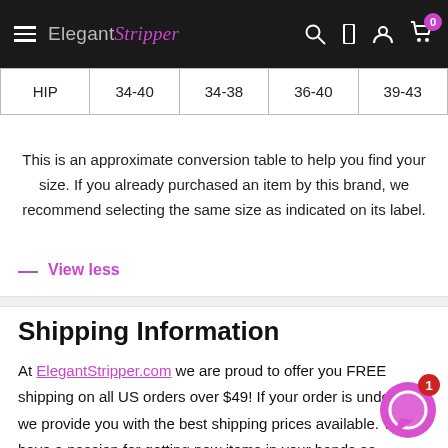Elegant Stripper — navigation bar
|  |  |  |  |  |
| --- | --- | --- | --- | --- |
| HIP | 34-40 | 34-38 | 36-40 | 39-43 |
This is an approximate conversion table to help you find your size. If you already purchased an item by this brand, we recommend selecting the same size as indicated on its label.
— View less
Shipping Information
At ElegantStripper.com we are proud to offer you FREE shipping on all US orders over $49! If your order is under $49 we provide you with the best shipping prices available. We have a passion for getting new items in your hands as quickly as possible and over 90% of our orders ship same day. Here is an easy rule of thumb as to when you can expect your new items to